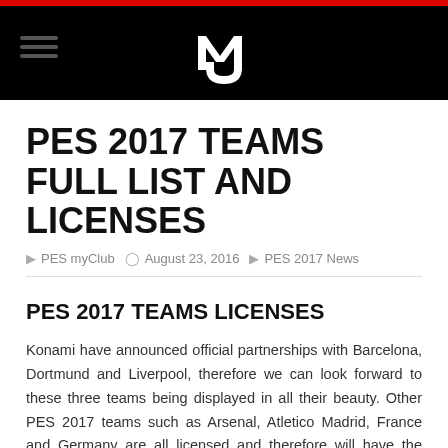MU (logo) - site header navigation
PES 2017 TEAMS FULL LIST AND LICENSES
PES myClub   August 23, 2016   PES 2017 News
PES 2017 TEAMS LICENSES
Konami have announced official partnerships with Barcelona, Dortmund and Liverpool, therefore we can look forward to these three teams being displayed in all their beauty. Other PES 2017 teams such as Arsenal, Atletico Madrid, France and Germany are all licensed and therefore will have the official badge, kits and